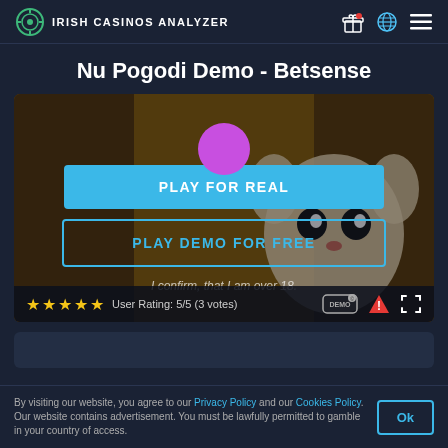IRISH CASINOS ANALYZER
Nu Pogodi Demo - Betsense
[Figure (screenshot): Game demo card showing Nu Pogodi animated cartoon character in the background with a purple circle icon, a blue 'PLAY FOR REAL' button, a bordered 'PLAY DEMO FOR FREE' button, confirmation text 'I confirm, that I am over 18.', and a bottom bar with 5 yellow stars, 'User Rating: 5/5 (3 votes)', DEMO badge, warning icon, and fullscreen icon.]
By visiting our website, you agree to our Privacy Policy and our Cookies Policy. Our website contains advertisement. You must be lawfully permitted to gamble in your country of access.